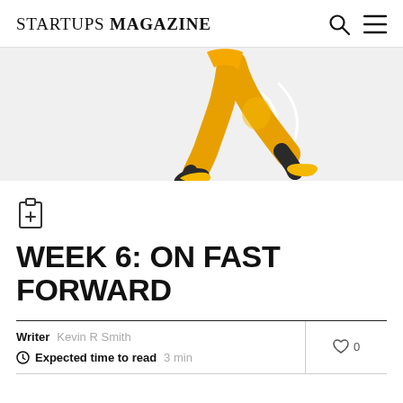STARTUPS MAGAZINE
[Figure (illustration): Illustration of a person running in a yellow outfit, shown from waist down, on a light grey background]
[Figure (other): Clipboard with plus icon]
WEEK 6: ON FAST FORWARD
Writer  Kevin R Smith
Expected time to read  3 min